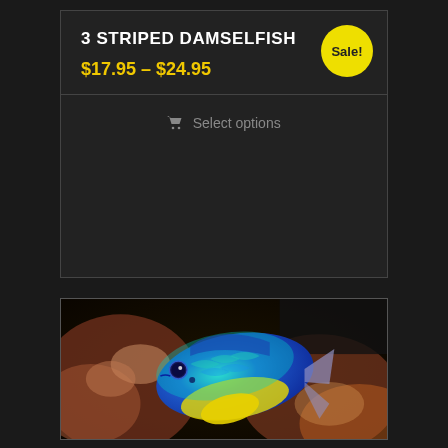3 STRIPED DAMSELFISH
$17.95 – $24.95
Sale!
Select options
[Figure (photo): A vibrant blue and yellow 3 Striped Damselfish swimming among coral reef, with iridescent blue-green scales and yellow belly, against a blurred coral background]